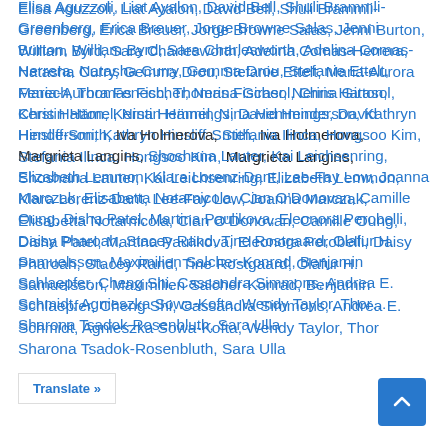Elisa Aguzzoli, Liat Ayalon, David Bell, Shuli Brammli-Greenberg, Erica Breuer, Jorge Browne Salas, Jenni Burton, William Byrd, Sara Charlesworth, Adelina Comas-Herrera, Natasha Curry, Gemma Drou, Stefanie Ettelt, Maria-Aurora Fenech, Thomas Fischer, Nerina Girasol, Chris Hatton, Kerstin Hämel, Nina Hemmings, David Henderson, Kathryn Hinsliff-Smith, Iva Holmerova, Stefania Ilinca, Hongsoo Kim, Margrieta Langins, Shoshana Lauter, Kai Leichsenring, Elizabeth Lemmon, Klara Lorenz-Dant, Lee-Fay Low, Joanna Marczak, Elisabetta Notarnicola, Cian O'Donovan, Camille Oung, Disha Patel, Martina Paulikova, Eleonora Perobelli, Daisy Pharoah, Stacey Rand, Tine Rostgaard, Olafur H. Samuelsson, Maximilien Salcher-Konrad, Benjamin Schlaepfer, Cheng Shi, Cassandra Simmons, Andrea E. Schmidt, Agnieszka Sowa-Kofta, Wendy Taylor, Thorsten Heads, Sharona Tsadok-Rosenbluth, Sara Ulla